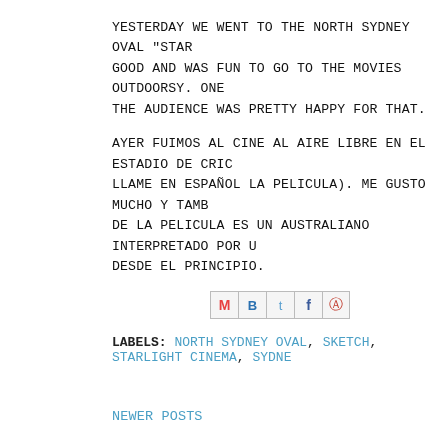Yesterday we went to the North Sydney Oval "Star... good and was fun to go to the movies outdoorsy. One ... the audience was pretty happy for that.
Ayer fuimos al cine al aire libre en el Estadio de Cric... llame en español la pelicula). Me gusto mucho y tamb... de la pelicula es un australiano interpretado por u... desde el principio.
[Figure (other): Social sharing icons: Gmail (M), Blogger (B), Twitter (t), Facebook (f), Pinterest (circle with P)]
Labels: North Sydney Oval, Sketch, Starlight Cinema, Sydne...
Newer Posts
Subscribe to: Posts (Atom)